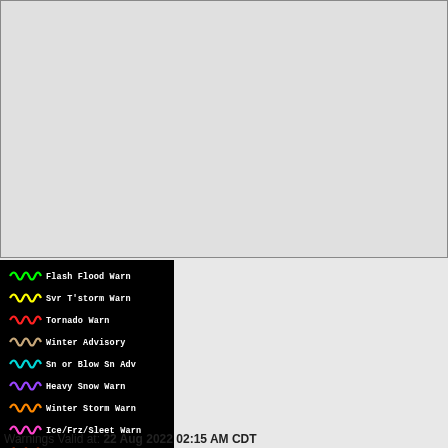[Figure (map): Weather map area showing US regional weather warnings overlay, currently blank/empty gray map region]
[Figure (infographic): Legend box on black background listing weather warning types with colored squiggly line icons: Flash Flood Warn (green), Svr T'storm Warn (yellow), Tornado Warn (red), Winter Advisory (tan/beige), Sn or Blow Sn Adv (cyan), Heavy Snow Warn (purple), Winter Storm Warn (orange), Ice/Frz/Sleet Warn (pink/magenta), Blizzard Warn (red-orange)]
Warnings Valid at: 22 Aug 2022 02:15 AM CDT